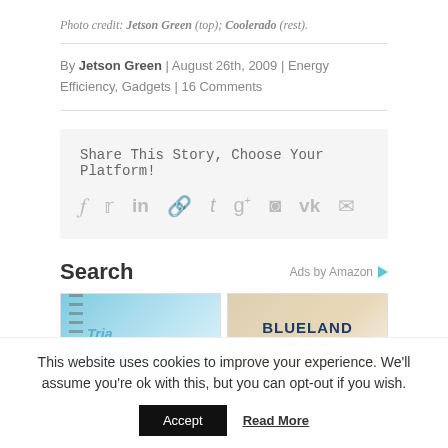Photo credit: Jetson Green (top); Coolerado (rest).
By Jetson Green | August 26th, 2009 | Energy Efficiency, Gadgets | 16 Comments
Share This Story, Choose Your Platform!
Search
Ads by Amazon
This website uses cookies to improve your experience. We'll assume you're ok with this, but you can opt-out if you wish.